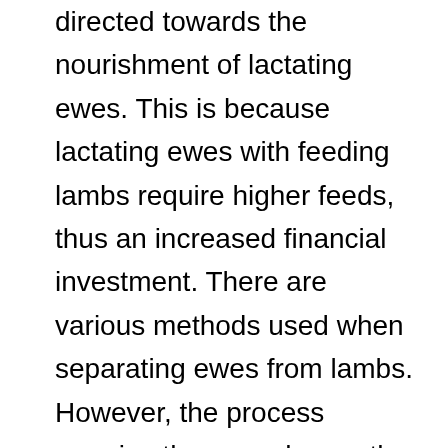directed towards the nourishment of lactating ewes. This is because lactating ewes with feeding lambs require higher feeds, thus an increased financial investment. There are various methods used when separating ewes from lambs. However, the process remains the same hence the need to be knowledgeable on how it is carried out. As previously mentioned, the weaning process must include separating the paddock pastures of the ewes and those of the lambs. The ewes are removed from the pen and placed on a separate one away from lambs. It is recommended that the lambs be placed in same groups of siblings for easier stress management. Note that sheep are susceptible to diseases and infection during this period; the common ones being coccidiosis and